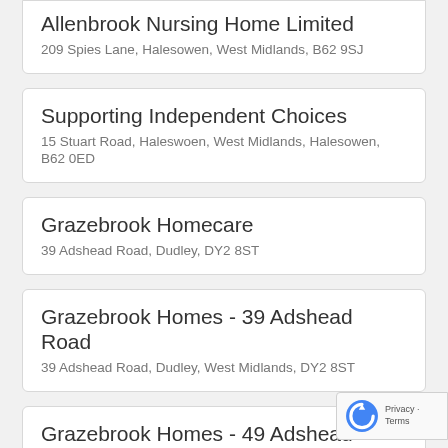Allenbrook Nursing Home Limited
209 Spies Lane, Halesowen, West Midlands, B62 9SJ
Supporting Independent Choices
15 Stuart Road, Haleswoen, West Midlands, Halesowen, B62 0ED
Grazebrook Homecare
39 Adshead Road, Dudley, DY2 8ST
Grazebrook Homes - 39 Adshead Road
39 Adshead Road, Dudley, West Midlands, DY2 8ST
Grazebrook Homes - 49 Adshead Road
49 Adshead Road, Dudley, West Midlands, DY2 8ST